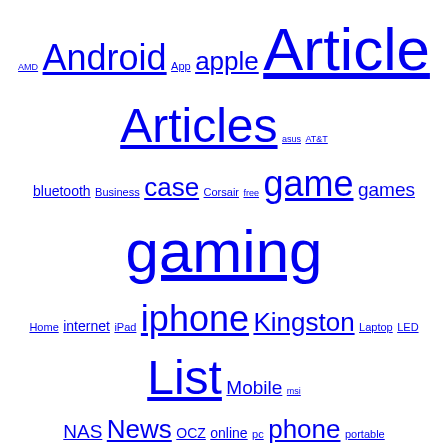[Figure (other): Tag cloud with technology-related keywords in varying font sizes, all in blue underlined links on white background. Tags include: AMD, Android, App, apple, Article, Articles, asus, AT&T, bluetooth, Business, case, Corsair, free, game, games, gaming, Home, internet, iPad, iphone, Kingston, Laptop, LED, List, Mobile, msi, NAS, News, OCZ, online, pc, phone, portable, Product, Reviews, Product Reviews, Reviews, samsung, SSD, tablet, tech, Tips, usb, Verizon, video, Wireless]
Categories
3D Printing
3D Printing Related Reviews
A/V Cables
A/V Receivers
Android Apps / Games
Apple Watch Accessories
Articles